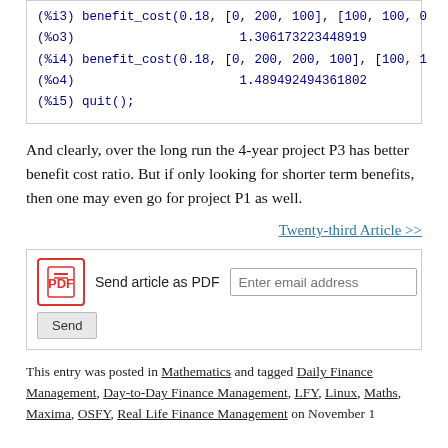(%i3) benefit_cost(0.18, [0, 200, 100], [100, 100, 0
(%o3)                    1.306173223448919
(%i4) benefit_cost(0.18, [0, 200, 200, 100], [100, 1
(%o4)                    1.489492494361802
(%i5) quit();
And clearly, over the long run the 4-year project P3 has better benefit cost ratio. But if only looking for shorter term benefits, then one may even go for project P1 as well.
Twenty-third Article >>
[Figure (other): Send article as PDF widget with email input and Send button]
This entry was posted in Mathematics and tagged Daily Finance Management, Day-to-Day Finance Management, LFY, Linux, Maths, Maxima, OSFY, Real Life Finance Management on November 1